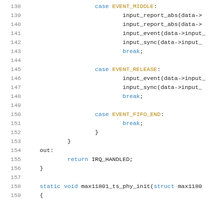[Figure (screenshot): Source code listing lines 138-159 of a C file showing a switch-case block handling EVENT_MIDDLE, EVENT_RELEASE, EVENT_FIFO_END cases, followed by out: label, return IRQ_HANDLED, closing brace, and start of static void max11801_ts_phy_init function.]